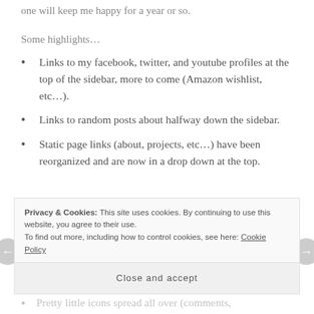one will keep me happy for a year or so.
Some highlights…
Links to my facebook, twitter, and youtube profiles at the top of the sidebar, more to come (Amazon wishlist, etc…).
Links to random posts about halfway down the sidebar.
Static page links (about, projects, etc…) have been reorganized and are now in a drop down at the top.
Privacy & Cookies: This site uses cookies. By continuing to use this website, you agree to their use.
To find out more, including how to control cookies, see here: Cookie Policy
Close and accept
Pretty little icons spread all over (comments,